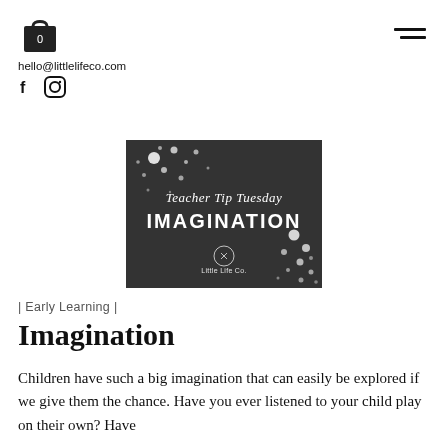hello@littlelifeco.com
[Figure (illustration): Dark background image with scattered white dots/circles, text reads 'Teacher Tip Tuesday' and 'IMAGINATION' with Little Life Co. logo at bottom.]
| Early Learning |
Imagination
Children have such a big imagination that can easily be explored if we give them the chance. Have you ever listened to your child play on their own? Have